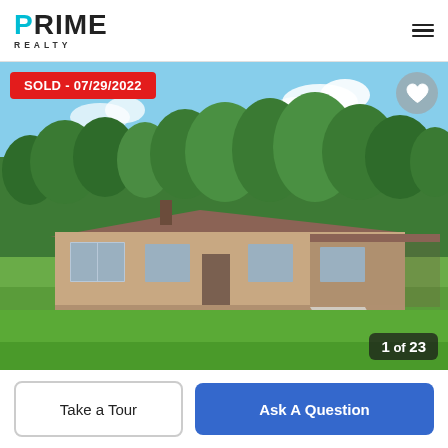[Figure (logo): PRIME REALTY logo with teal P letter, bold black text, REALTY in spaced capitals below]
[Figure (photo): Exterior photo of a single-story brick ranch house with large green lawn, trees in background, blue sky with clouds. SOLD - 07/29/2022 badge in red at top left. Heart icon button at top right. Photo counter '1 of 23' at bottom right.]
Take a Tour
Ask A Question